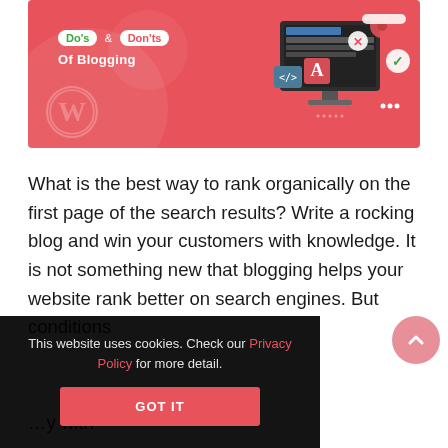[Figure (illustration): Banner image with pink/red background showing 'Do's & Don'ts Of Blogging' text with badge labels, a WordPress logo watermark, and an illustration of a computer monitor with web/design icons]
What is the best way to rank organically on the first page of the search results? Write a rocking blog and win your customers with knowledge. It is not something new that blogging helps your website rank better on search engines. But conditions [partially visible] ...y with
This website uses cookies. Check our Privacy Policy for more detail.
GOT IT